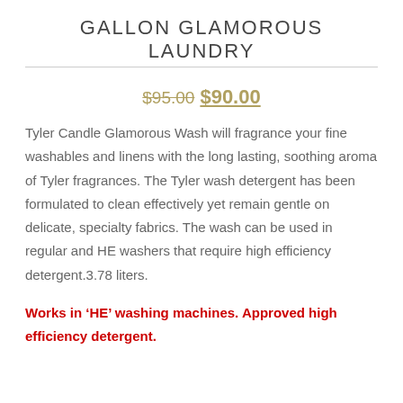GALLON GLAMOROUS LAUNDRY
$95.00 $90.00
Tyler Candle Glamorous Wash will fragrance your fine washables and linens with the long lasting, soothing aroma of Tyler fragrances. The Tyler wash detergent has been formulated to clean effectively yet remain gentle on delicate, specialty fabrics. The wash can be used in regular and HE washers that require high efficiency detergent.3.78 liters.
Works in ‘HE’ washing machines. Approved high efficiency detergent.